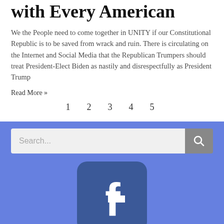with Every American
We the People need to come together in UNITY if our Constitutional Republic is to be saved from wrack and ruin. There is circulating on the Internet and Social Media that the Republican Trumpers should treat President-Elect Biden as nastily and disrespectfully as President Trump
Read More »
1 2 3 4 5
[Figure (screenshot): Search bar with text input placeholder 'Search...' and a grey search button with magnifying glass icon]
[Figure (logo): Facebook logo icon — rounded square with slate blue background and white 'f' letterform]
[Figure (logo): Twitter/social media icon — partial view of a rounded square]